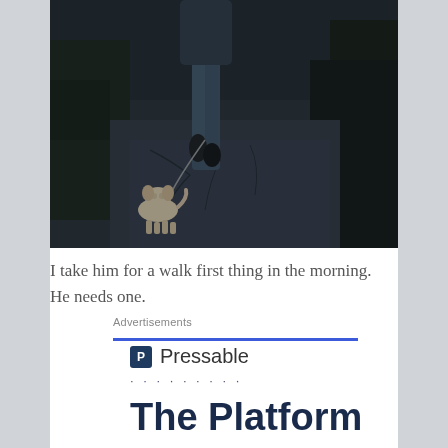[Figure (photo): A person walking a small fluffy dog on a leash along a dark asphalt path, viewed from behind. The scene is in a park or outdoor area, photographed in a dark, moody, desaturated style.]
I take him for a walk first thing in the morning. He needs one.
Advertisements
[Figure (logo): Pressable logo: a blue square with letter P followed by the word Pressable in dark grey, with a row of dots below]
The Platform